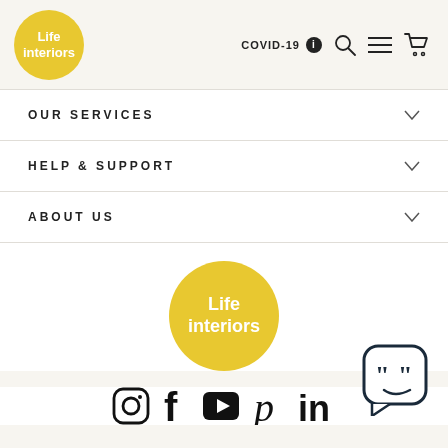Life interiors — COVID-19 header navigation
OUR SERVICES
HELP & SUPPORT
ABOUT US
[Figure (logo): Life interiors yellow circle logo in footer]
[Figure (illustration): Social media icons: Instagram, Facebook, YouTube, Pinterest, LinkedIn]